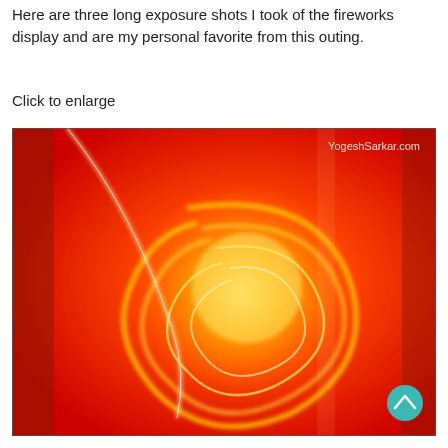Here are three long exposure shots I took of the fireworks display and are my personal favorite from this outing.
Click to enlarge
[Figure (photo): Long exposure fireworks photo showing glowing yellow-white spiral/crescent light trails against a vivid red-orange background. Watermark 'YogeshSarkar.com' in top-right corner. A teal/cyan circular back-to-top button is visible in the bottom-right corner of the image.]